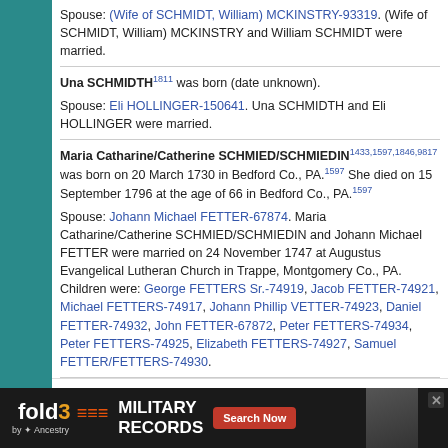Spouse: (Wife of SCHMIDT, William) MCKINSTRY-93319. (Wife of SCHMIDT, William) MCKINSTRY and William SCHMIDT were married.
Una SCHMIDTH[1811] was born (date unknown).
Spouse: Eli HOLLINGER-150641. Una SCHMIDTH and Eli HOLLINGER were married.
Maria Catharine/Catherine SCHMIED/SCHMIEDIN[1433,1597,1846,9817] was born on 20 March 1730 in Bedford Co., PA.[1597] She died on 15 September 1796 at the age of 66 in Bedford Co., PA.[1597]
Spouse: Johann Michael FETTER-67874. Maria Catharine/Catherine SCHMIED/SCHMIEDIN and Johann Michael FETTER were married on 24 November 1747 at Augustus Evangelical Lutheran Church in Trappe, Montgomery Co., PA. Children were: George FETTERS Sr.-74919, Jacob FETTER-74921, Michael FETTERS-74917, Johann Phillip VETTER-74923, Daniel FETTER-74932, John FETTER-67872, Peter FETTERS-74934, Peter FETTERS-74925, Elizabeth FETTERS-74927, Samuel FETTER/FETTERS-74930.
Simon SCHMIED[3393] was born (date unknown).
[Figure (screenshot): fold3 MILITARY RECORDS advertisement banner by Ancestry with Search Now button]